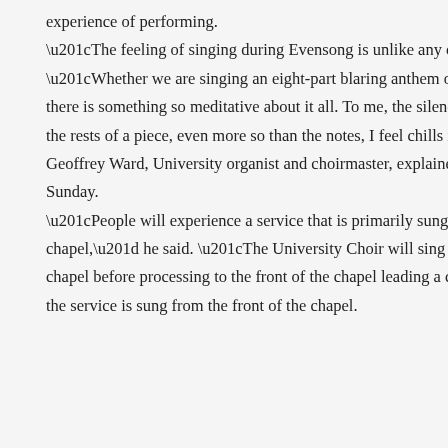experience of performing. “The feeling of singing during Evensong is unlike any other service,” she said. “Whether we are singing an eight-part blaring anthem or a unison plainsong chant, there is something so meditative about it all. To me, the silence is the most mesmerizing. In the rests of a piece, even more so than the notes, I feel chills in my bones.” Geoffrey Ward, University organist and choirmaster, explained what people can expect on Sunday. “People will experience a service that is primarily sung from different parts of the chapel,” he said. “The University Choir will sing an introit from the back of the chapel before processing to the front of the chapel leading a congregational hymn. Most of the service is sung from the front of the chapel.